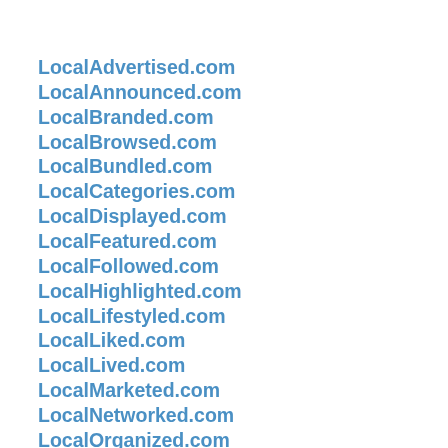LocalAdvertised.com
LocalAnnounced.com
LocalBranded.com
LocalBrowsed.com
LocalBundled.com
LocalCategories.com
LocalDisplayed.com
LocalFeatured.com
LocalFollowed.com
LocalHighlighted.com
LocalLifestyled.com
LocalLiked.com
LocalLived.com
LocalMarketed.com
LocalNetworked.com
LocalOrganized.com